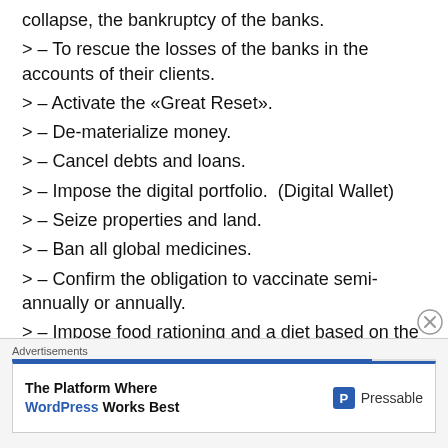collapse, the bankruptcy of the banks.
> – To rescue the losses of the banks in the accounts of their clients.
> – Activate the «Great Reset».
> – De-materialize money.
> – Cancel debts and loans.
> – Impose the digital portfolio.  (Digital Wallet)
> – Seize properties and land.
> – Ban all global medicines.
> – Confirm the obligation to vaccinate semi-annually or annually.
> – Impose food rationing and a diet based on the
Codex Alimentarius
[Figure (screenshot): Advertisement banner: 'The Platform Where WordPress Works Best' by Pressable, with blue top border and Pressable logo.]